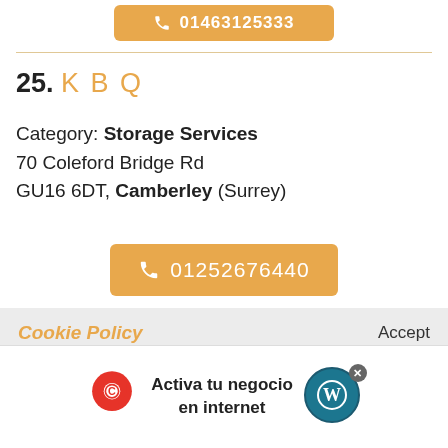[Figure (screenshot): Orange phone button partially visible at top, cut off, showing partial phone number]
25. K B Q
Category: Storage Services
70 Coleford Bridge Rd
GU16 6DT, Camberley (Surrey)
[Figure (screenshot): Orange phone button with number 01252676440]
Cookie Policy
Accept
This site uses cookies. By continuing to browse the site you are agreeing to our use of cookies. For
[Figure (infographic): Ad banner: Activa tu negocio en internet with location pin logo and WordPress logo]